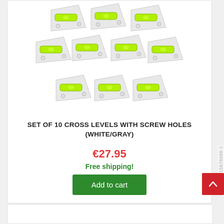[Figure (photo): Set of 10 cross levels with screw holes, white and gray colored spirit levels arranged in a grid pattern (3-4-3 layout), with green bubble vials]
SET OF 10 CROSS LEVELS WITH SCREW HOLES (WHITE/GRAY)
€27.95
Free shipping!
Add to cart